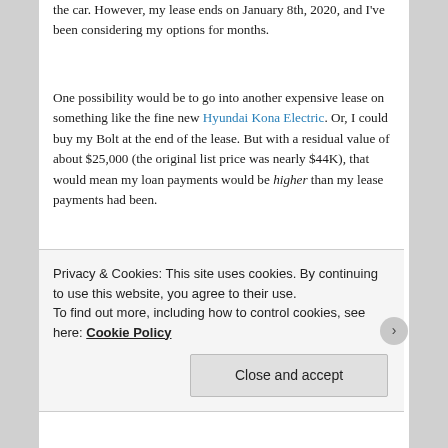the car. However, my lease ends on January 8th, 2020, and I've been considering my options for months.
One possibility would be to go into another expensive lease on something like the fine new Hyundai Kona Electric. Or, I could buy my Bolt at the end of the lease. But with a residual value of about $25,000 (the original list price was nearly $44K), that would mean my loan payments would be higher than my lease payments had been.
The third option was to grab a used EV. I recently researched the used EV market, and found there are some great deals out there. I wrote about six great used EVs under $15,000. Believe it or not, you can drive home
Privacy & Cookies: This site uses cookies. By continuing to use this website, you agree to their use.
To find out more, including how to control cookies, see here: Cookie Policy